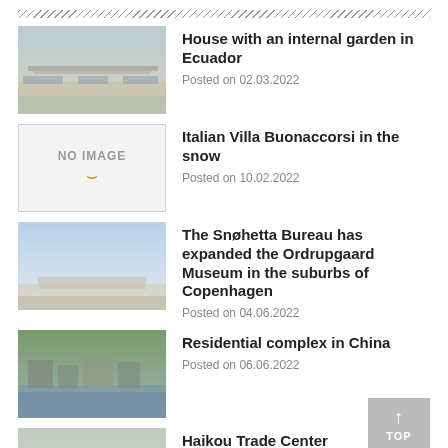House with an internal garden in Ecuador
Posted on 02.03.2022
Italian Villa Buonaccorsi in the snow
Posted on 10.02.2022
The Snøhetta Bureau has expanded the Ordrupgaard Museum in the suburbs of Copenhagen
Posted on 04.06.2022
Residential complex in China
Posted on 06.06.2022
Haikou Trade Center
Posted on 21.02.2022